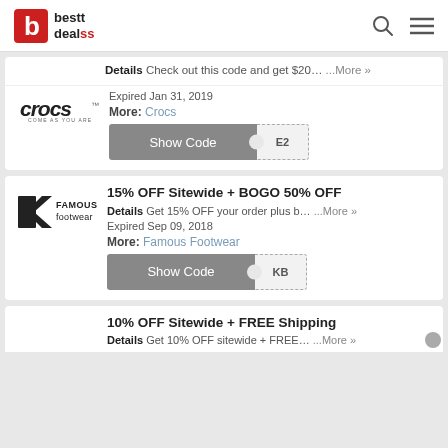bestt dealss
Details Check out this code and get $20 ...More »
[Figure (logo): Crocs logo with 'COME AS YOU ARE' tagline]
Expired Jan 31, 2019
More: Crocs
Show Code  E2
15% OFF Sitewide + BOGO 50% OFF
Details Get 15% OFF your order plus b... ...More »
[Figure (logo): Famous Footwear logo]
Expired Sep 09, 2018
More: Famous Footwear
Show Code  KB
10% OFF Sitewide + FREE Shipping
Details Get 10% OFF sitewide + FREE ...More »